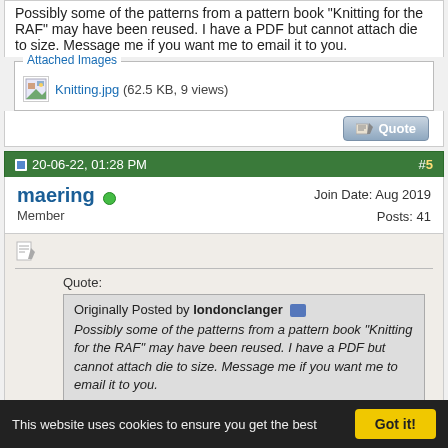Possibly some of the patterns from a pattern book "Knitting for the RAF" may have been reused. I have a PDF but cannot attach die to size. Message me if you want me to email it to you.
[Figure (other): Attached Images box with thumbnail icon and link: Knitting.jpg (62.5 KB, 9 views)]
[Figure (other): Quote button (reply with quote)]
20-06-22, 01:28 PM
#5
maering (online) Member
Join Date: Aug 2019
Posts: 41
[Figure (other): Edit/post icon]
Quote:
Originally Posted by londonclanger
Possibly some of the patterns from a pattern book "Knitting for the RAF" may have been reused. I have a PDF but cannot attach die to size. Message me if you want me to email it to you.
Thanks will send pm
This website uses cookies to ensure you get the best
Got it!